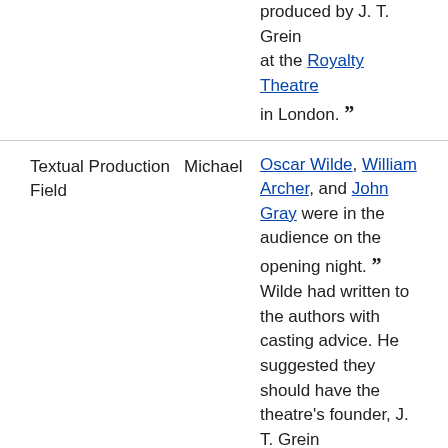produced by J. T. Grein at the Royalty Theatre in London. ”
|  |  |  |
| --- | --- | --- |
| Textual Production | Michael Field | Oscar Wilde, William Archer, and John Gray were in the audience on the opening night. ” Wilde had written to the authors with casting advice. He suggested they should have the theatre's founder, J. T. Grein |
Timeline